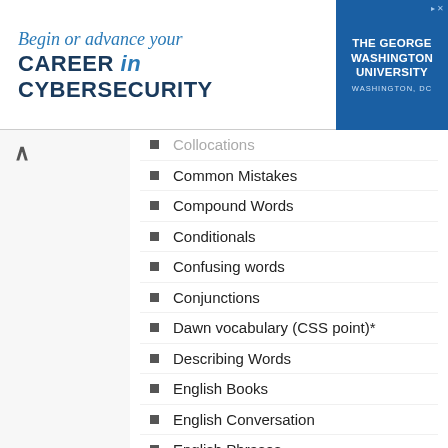[Figure (other): Advertisement banner for The George Washington University Cybersecurity program]
Collocations
Common Mistakes
Compound Words
Conditionals
Confusing words
Conjunctions
Dawn vocabulary (CSS point)*
Describing Words
English Books
English Conversation
English Phrases
English Speaking
English Urdu translation rules
English urdu vocabulary
English/Urdu Sentences